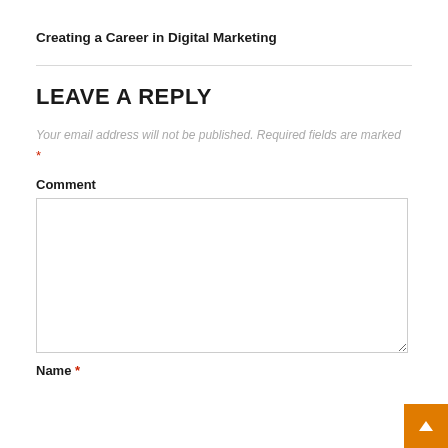Creating a Career in Digital Marketing
LEAVE A REPLY
Your email address will not be published. Required fields are marked *
Comment
Name *